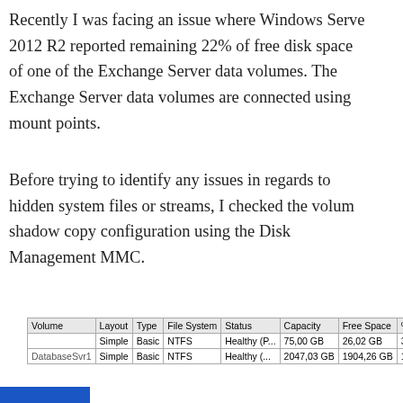Recently I was facing an issue where Windows Server 2012 R2 reported remaining 22% of free disk space of one of the Exchange Server data volumes. The Exchange Server data volumes are connected using mount points.
Before trying to identify any issues in regards to hidden system files or streams, I checked the volume shadow copy configuration using the Disk Management MMC.
Windows Disk Management showed that volume C: was using a mounted volume as shadow copy target
[Figure (screenshot): Partial screenshot of Windows Disk Management table showing Volume, Layout, Type, File System, Status, Capacity, Free Space, % Free columns. Row 1: blank volume, Simple, Basic, NTFS, Healthy (P..., 75,00 GB, 26,02 GB, 35%. Row 2 (partial): DatabaseSvr1, Simple, Basic, NTFS, Healthy (..., 2047,03 GB, 1904,26 GB, 13%...]